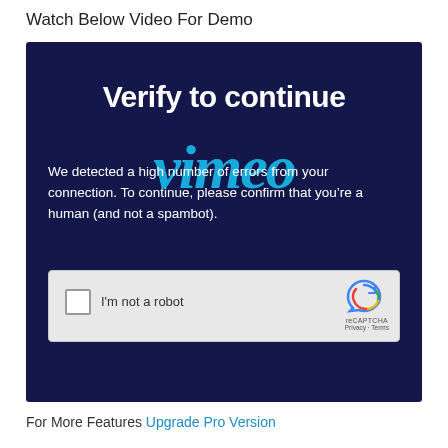Watch Below Video For Demo
[Figure (screenshot): Screenshot of a Vimeo video player showing a 'Verify to continue' page with a reCAPTCHA checkbox widget overlaid with the Vimeo logo watermark. The background is dark navy blue. Text reads: 'Verify to continue. We detected a high number of errors from your connection. To continue, please confirm that you’re a human (and not a spambot).' A reCAPTCHA checkbox widget appears below with 'I’m not a robot' text.]
For More Features Upgrade Pro Version